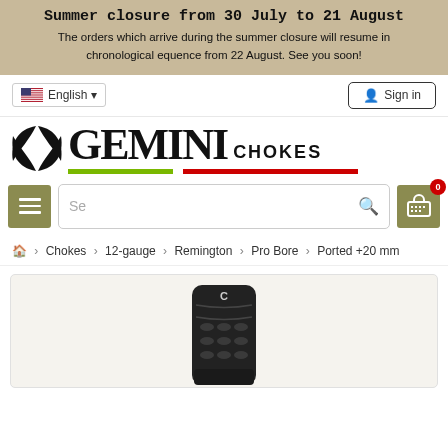Summer closure from 30 July to 21 August
The orders which arrive during the summer closure will resume in chronological equence from 22 August. See you soon!
English ▾
Sign in
[Figure (logo): Gemini Chokes logo with stylized leaf/wing symbol and green/red underlines]
Se (search box)
🏠 > Chokes > 12-gauge > Remington > Pro Bore > Ported +20 mm
[Figure (photo): Black cylindrical shotgun choke tube product photo, partially visible at bottom of page]